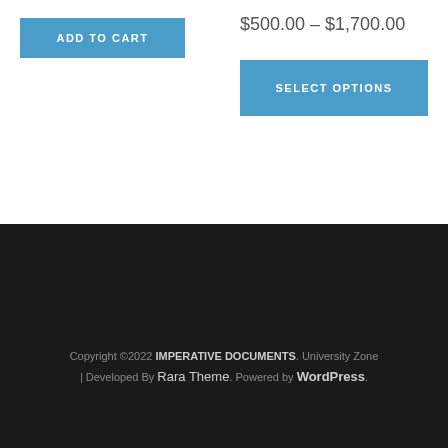ADD TO CART
$500.00 – $1,700.00
SELECT OPTIONS
Copyright ©2022 IMPERATIVE DOCUMENTS. University Zone | Developed By Rara Theme. Powered by WordPress.